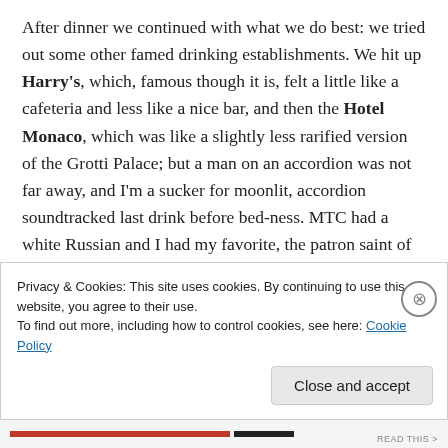After dinner we continued with what we do best: we tried out some other famed drinking establishments. We hit up Harry's, which, famous though it is, felt a little like a cafeteria and less like a nice bar, and then the Hotel Monaco, which was like a slightly less rarified version of the Grotti Palace; but a man on an accordion was not far away, and I'm a sucker for moonlit, accordion soundtracked last drink before bed-ness. MTC had a white Russian and I had my favorite, the patron saint of Italian drinks, a spritz aperol. We walked back to the hotel through Piazza San Marco, which while bird and selfie filled during the day is magical at night, and reminded me of the beautiful...
Privacy & Cookies: This site uses cookies. By continuing to use this website, you agree to their use.
To find out more, including how to control cookies, see here: Cookie Policy
Close and accept